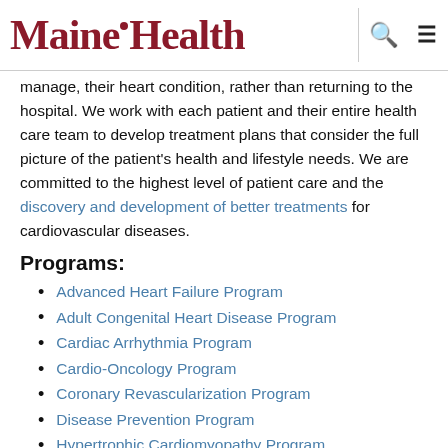MaineHealth
manage, their heart condition, rather than returning to the hospital. We work with each patient and their entire health care team to develop treatment plans that consider the full picture of the patient's health and lifestyle needs. We are committed to the highest level of patient care and the discovery and development of better treatments for cardiovascular diseases.
Programs:
Advanced Heart Failure Program
Adult Congenital Heart Disease Program
Cardiac Arrhythmia Program
Cardio-Oncology Program
Coronary Revascularization Program
Disease Prevention Program
Hypertrophic Cardiomyopathy Program
Imaging and Diagnostics Program